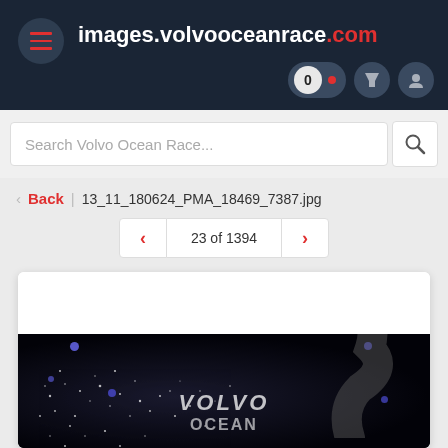images.volvooceanrace.com
Search Volvo Ocean Race...
Back | 13_11_180624_PMA_18469_7387.jpg
23 of 1394
[Figure (screenshot): Volvo Ocean Race image viewer screenshot showing a navigation image of sailing boats with the Volvo Ocean Race logo overlay on a dark background]